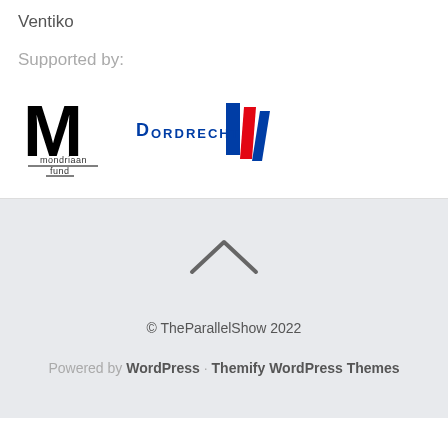Ventiko
Supported by:
[Figure (logo): Mondriaan Fund logo: large black M with 'mondriaan fund' text below in small caps with underline]
[Figure (logo): Dordrecht municipality logo: 'DORDRECHT' text in blue small caps with red and blue vertical stripe design]
[Figure (other): Upward chevron/caret arrow symbol for back-to-top navigation]
© TheParallelShow 2022
Powered by WordPress · Themify WordPress Themes